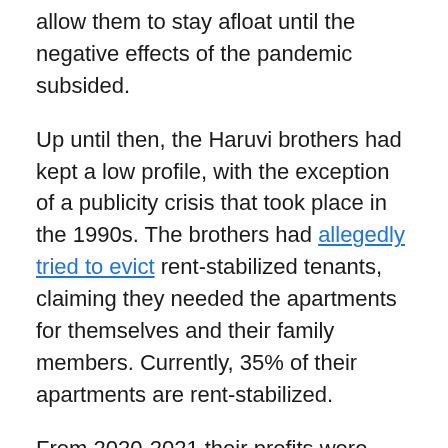allow them to stay afloat until the negative effects of the pandemic subsided.
Up until then, the Haruvi brothers had kept a low profile, with the exception of a publicity crisis that took place in the 1990s. The brothers had allegedly tried to evict rent-stabilized tenants, claiming they needed the apartments for themselves and their family members. Currently, 35% of their apartments are rent-stabilized.
From 2020-2021 their profits were reduced by a considerable amount and their $53 million mortgage went into default. This prompted Arthur to arrange a refinancing deal in hopes of taking advantage of the historically low-interest rates offered by the Fed.